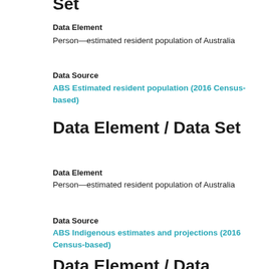Set
Data Element
Person—estimated resident population of Australia
Data Source
ABS Estimated resident population (2016 Census-based)
Data Element / Data Set
Data Element
Person—estimated resident population of Australia
Data Source
ABS Indigenous estimates and projections (2016 Census-based)
Data Element / Data